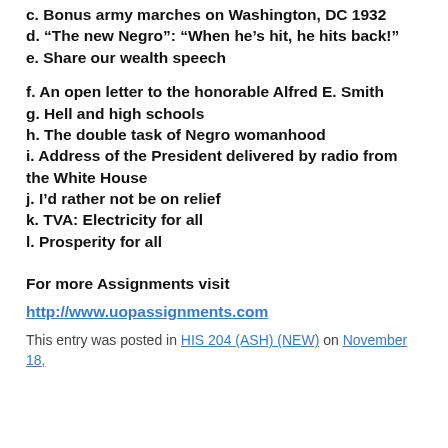c. Bonus army marches on Washington, DC 1932
d. “The new Negro”: “When he’s hit, he hits back!”
e. Share our wealth speech
f. An open letter to the honorable Alfred E. Smith
g. Hell and high schools
h. The double task of Negro womanhood
i. Address of the President delivered by radio from the White House
j. I’d rather not be on relief
k. TVA: Electricity for all
l. Prosperity for all
For more Assignments visit
http://www.uopassignments.com
This entry was posted in HIS 204 (ASH) (NEW) on November 18,